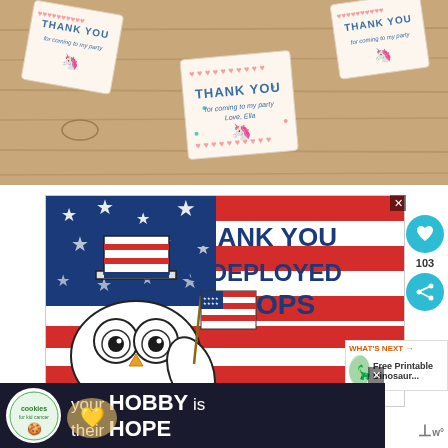[Figure (photo): Flat lay photo of unicorn-themed 'Thank You for coming to my party' gift tags on a wooden table surface]
[Figure (illustration): Patriotic ad illustration: cartoon owl wearing Uncle Sam hat holding American flag, with red, white and blue brush-stroke flag background, text reads SAY THANK YOU TO DEPLOYED TROOPS]
103
[Figure (photo): WHAT'S NEXT thumbnail - Free Printable Dinosaur...]
[Figure (infographic): Bottom banner ad: cookies for kid cancer logo (owl in circle), text reads 'your HOBBY is their HOPE']